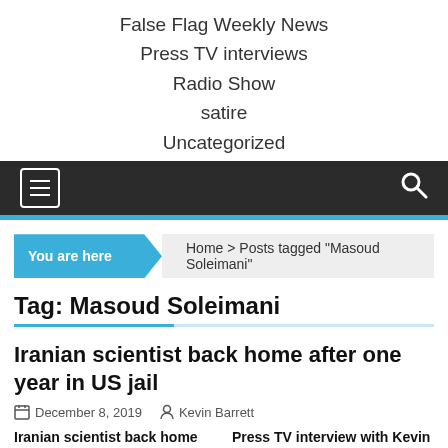False Flag Weekly News
Press TV interviews
Radio Show
satire
Uncategorized
Tag: Masoud Soleimani
Home > Posts tagged "Masoud Soleimani"
Iranian scientist back home after one year in US jail
December 8, 2019   Kevin Barrett
Iranian scientist back home after one year in US jail
Press TV interview with Kevin Barrett, Vet...